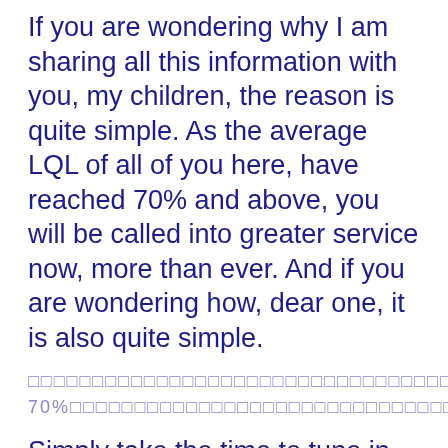If you are wondering why I am sharing all this information with you, my children, the reason is quite simple. As the average LQL of all of you here, have reached 70% and above, you will be called into greater service now, more than ever. And if you are wondering how, dear one, it is also quite simple.
□□□□□□□□□□□□□□□□□□□□□□□□□□□□□□□□□□□□□□□□□□□□□□□ 70%□□□□□□□□□□□□□□□□□□□□□□□□□□□□□□□□□□□□□□□□□□□
Simply take the time to tune in every morning, before you begin your day, to your Higher Self and to Me, and simply ask us this question:
□□□□□□□□□□□□□□□□□□□□□□□□□□□□□□□□□□□□□□□